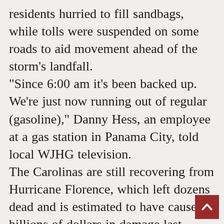residents hurried to fill sandbags, while tolls were suspended on some roads to aid movement ahead of the storm's landfall. "Since 6:00 am it's been backed up. We're just now running out of regular (gasoline)," Danny Hess, an employee at a gas station in Panama City, told local WJHG television. The Carolinas are still recovering from Hurricane Florence, which left dozens dead and is estimated to have caused billions of dollars in damage last month. It made landfall on the coast as a Category 1 hurricane on September 14 and drenched some parts of the state with 40 inches of rain. Last year saw a string of catastrophic storms batter the western Atlantic -- including Irma